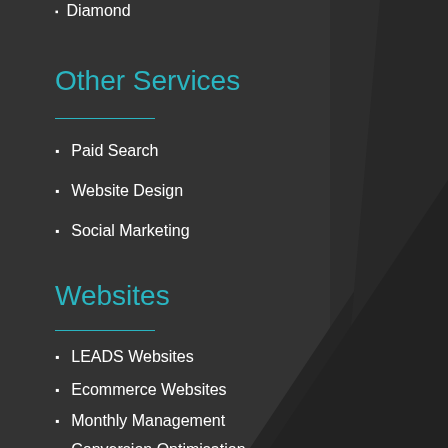Diamond
Other Services
Paid Search
Website Design
Social Marketing
Websites
LEADS Websites
Ecommerce Websites
Monthly Management
Conversion Optimisation